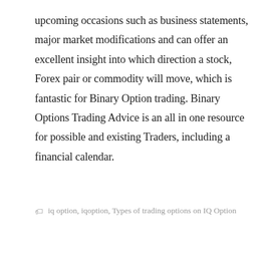upcoming occasions such as business statements, major market modifications and can offer an excellent insight into which direction a stock, Forex pair or commodity will move, which is fantastic for Binary Option trading. Binary Options Trading Advice is an all in one resource for possible and existing Traders, including a financial calendar.
iq option, iqoption, Types of trading options on IQ Option